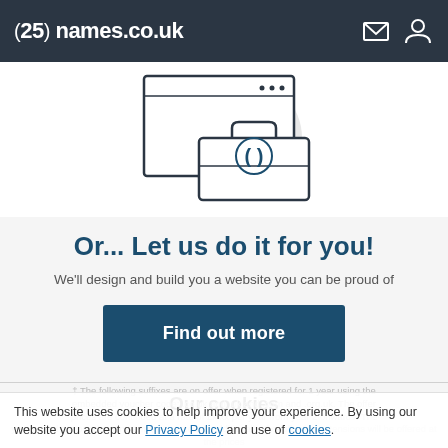(25) names.co.uk
[Figure (illustration): Line illustration of a computer monitor with a toolbox/briefcase in front of it, containing code brackets symbol. A grey circular shape is in the background.]
Or... Let us do it for you!
We'll design and build you a website you can be proud of
Find out more
Our cookies
‡ The following suffixes are on offer when registered for 1 year using the embedded voucher code: .co.uk and .uk and .com and .org.uk. The offer prices are continued at a rate of £x.xx per year from year 2 onwards. The prices quoted are per domain name, per account. Additionally, the following extensions will be offered at the prices
This website uses cookies to help improve your experience. By using our website you accept our Privacy Policy and use of cookies.